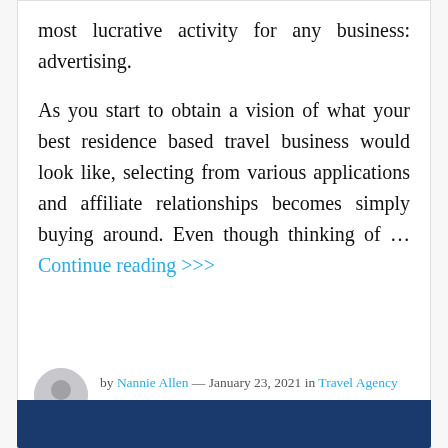most lucrative activity for any business: advertising.
As you start to obtain a vision of what your best residence based travel business would look like, selecting from various applications and affiliate relationships becomes simply buying around. Even though thinking of … Continue reading >>>
by Nannie Allen — January 23, 2021 in Travel Agency